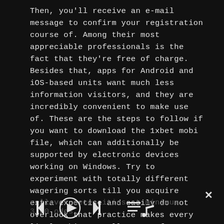Then, you'll receive an e-mail message to confirm your registration course of. Among their most appreciable professionals is the fact that they're free of charge. Besides that, apps for Android and iOS-based units want much less information visitors, and they are incredibly convenient to make use of. These are the steps to follow if you want to download the 1xbet mobi file, which can additionally be supported by electronic devices working on Windows. Try to experiment with totally different wagering sorts till you acquire extra expertise and easily do not overlook that practice makes every little thing excellent. As far as the wagering necessities are involved, you will want to stake the complete deposit, full the 10x
rollover necessities at minimum 3.00 odds.
[Figure (other): Media player controls bar at the bottom: skip-back button, play button (circle with triangle), skip-forward button, and a queue/playlist icon on the right.]